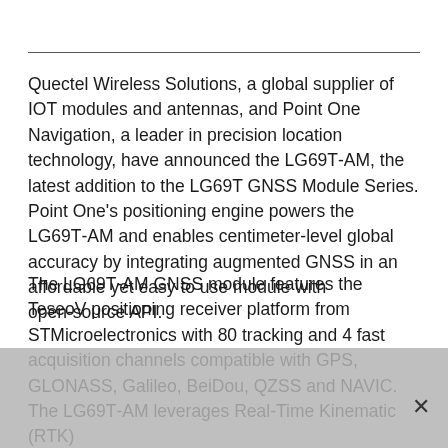Quectel Wireless Solutions, a global supplier of IOT modules and antennas, and Point One Navigation, a leader in precision location technology, have announced the LG69T-AM, the latest addition to the LG69T GNSS Module Series. Point One's positioning engine powers the LG69T-AM and enables centimeter-level global accuracy by integrating augmented GNSS in an affordable yet easy to use module with open-source API.
The LG69T-AM GNSS module features the TeseoV positioning receiver platform from STMicroelectronics with 80 tracking and 4 fast acquisition channels compatible with GPS, GLONASS, Galileo, BeiDou, QZSS and NAVIC. The LG69T-AM leverages Real-Time Kinematic (RTK)